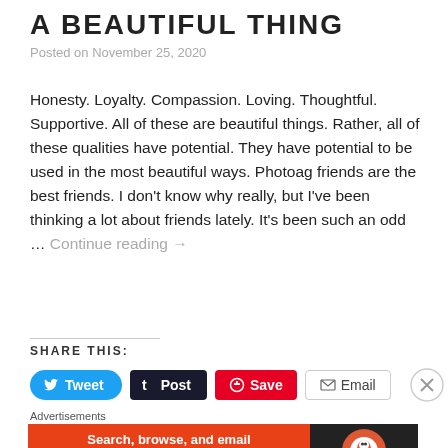A BEAUTIFUL THING
Posted on November 25, 2020
Honesty. Loyalty. Compassion. Loving. Thoughtful. Supportive. All of these are beautiful things. Rather, all of these qualities have potential. They have potential to be used in the most beautiful ways. Photoag friends are the best friends. I don't know why really, but I've been thinking a lot about friends lately. It's been such an odd ... Continue reading →
SHARE THIS:
[Figure (infographic): Social share buttons: Tweet (blue rounded), Post (dark), Save (red), Email (outlined)]
[Figure (infographic): DuckDuckGo advertisement banner: orange left side with 'Search, browse, and email with more privacy. All in One Free App', dark right side with DuckDuckGo logo]